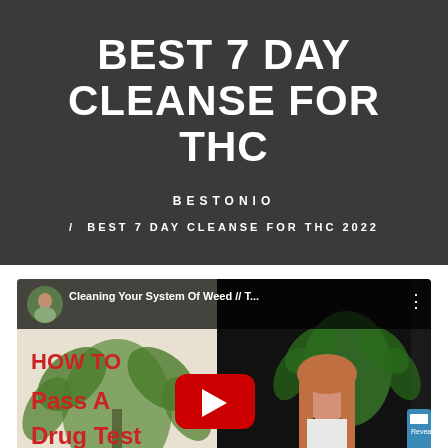BEST 7 DAY CLEANSE FOR THC
BESTONIO
/ BEST 7 DAY CLEANSE FOR THC 2022
[Figure (screenshot): YouTube video thumbnail showing a young woman with long auburn hair in front of a black backdrop with a green cannabis leaf. Left side shows text 'HOW TO Pass A Drug Test'. Title bar reads 'Cleaning Your System Of Weed // T...' with a YouTube play button overlay.]